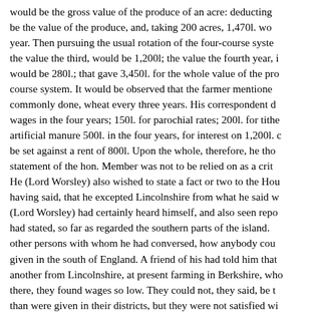would be the gross value of the produce of an acre: deducting be the value of the produce, and, taking 200 acres, 1,470l. wo year. Then pursuing the usual rotation of the four-course syste the value the third, would be 1,200l; the value the fourth year, i would be 280l.; that gave 3,450l. for the whole value of the pro course system. It would be observed that the farmer mentione commonly done, wheat every three years. His correspondent d wages in the four years; 150l. for parochial rates; 200l. for tithe artificial manure 500l. in the four years, for interest on 1,200l. c be set against a rent of 800l. Upon the whole, therefore, he tho statement of the hon. Member was not to be relied on as a crit He (Lord Worsley) also wished to state a fact or two to the Hou having said, that he excepted Lincolnshire from what he said w (Lord Worsley) had certainly heard himself, and also seen repo had stated, so far as regarded the southern parts of the island. other persons with whom he had conversed, how anybody cou given in the south of England. A friend of his had told him that another from Lincolnshire, at present farming in Berkshire, who there, they found wages so low. They could not, they said, be t than were given in their districts, but they were not satisfied wi